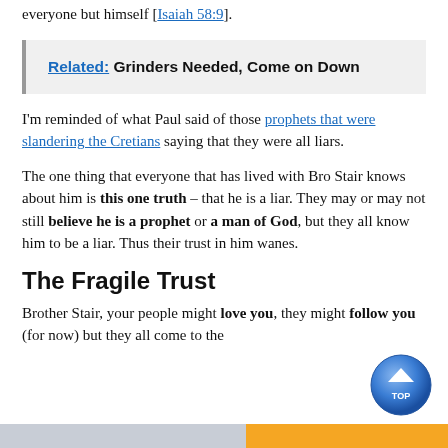everyone but himself [Isaiah 58:9].
Related:  Grinders Needed, Come on Down
I'm reminded of what Paul said of those prophets that were slandering the Cretians saying that they were all liars.
The one thing that everyone that has lived with Bro Stair knows about him is this one truth – that he is a liar.  They may or may not still believe he is a prophet or a man of God, but they all know him to be a liar.  Thus their trust in him wanes.
The Fragile Trust
Brother Stair, your people might love you, they might follow you (for now) but they all come to the